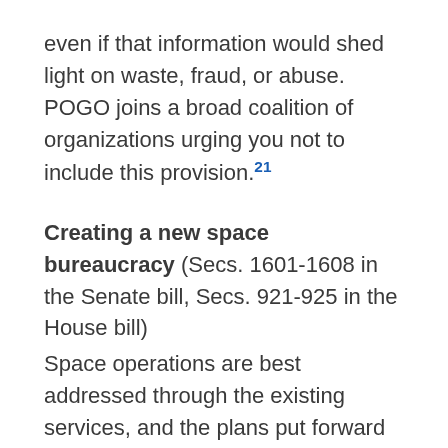even if that information would shed light on waste, fraud, or abuse. POGO joins a broad coalition of organizations urging you not to include this provision.21
Creating a new space bureaucracy (Secs. 1601-1608 in the Senate bill, Secs. 921-925 in the House bill)
Space operations are best addressed through the existing services, and the plans put forward by Pentagon officials indicate that this bureaucracy is likely to be duplicative and wasteful. Moreover,